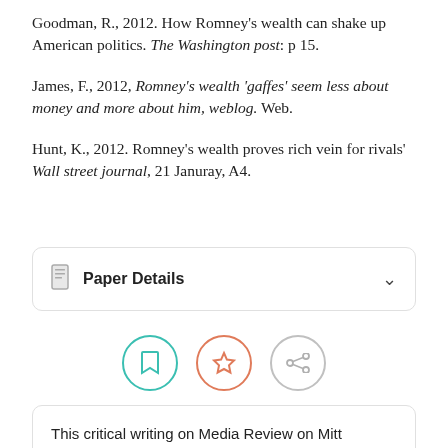Goodman, R., 2012. How Romney's wealth can shake up American politics. The Washington post: p 15.
James, F., 2012, Romney's wealth 'gaffes' seem less about money and more about him, weblog. Web.
Hunt, K., 2012. Romney's wealth proves rich vein for rivals' Wall street journal, 21 Januray, A4.
Paper Details
[Figure (other): Three circular icon buttons: a bookmark icon in teal, a star icon in orange, and a share icon in gray.]
This critical writing on Media Review on Mitt Romney's Wealth was written and submitted by your fellow student. You are free to use it for …ses in order to …r, you must cite it